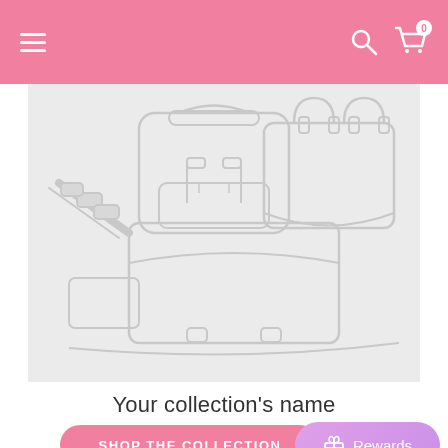Navigation bar with hamburger menu, search icon, and cart icon (0 items)
[Figure (illustration): Outline illustration of handbags and bags on a light gray background: a backpack, a structured tote bag, and a messenger/satchel bag with a diagonal strap, all drawn in gray outline style.]
Your collection's name
SHOP THE COLLECTION
Rewards